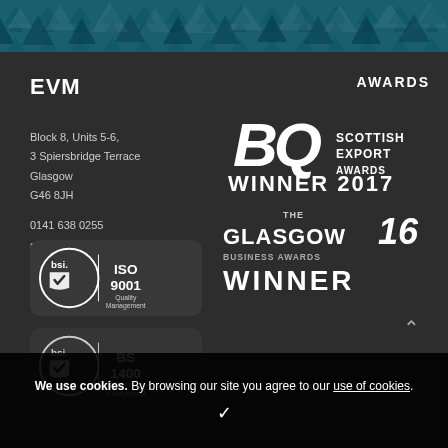[Figure (illustration): Teal header bar with dark triangle/arrow pattern]
EVM
Block 8, Units 5-6,
3 Spiersbridge Terrace
Glasgow
G46 8JH
0141 638 0255
sales@evm.co.uk
AWARDS
[Figure (logo): BQ Scottish Export Awards Winner 2017 logo]
[Figure (logo): The Glasgow Business Awards 16 Winner logo]
[Figure (logo): BSI ISO 9001 Quality Management certification badge]
[Figure (logo): BSI 14001 Environment Management certification badge]
We use cookies. By browsing our site you agree to our use of cookies.